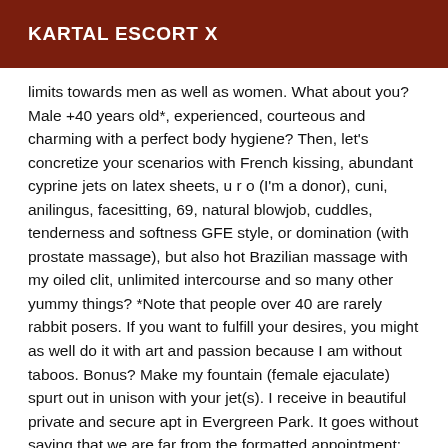KARTAL ESCORT X
limits towards men as well as women. What about you? Male +40 years old*, experienced, courteous and charming with a perfect body hygiene? Then, let's concretize your scenarios with French kissing, abundant cyprine jets on latex sheets, u r o (I'm a donor), cuni, anilingus, facesitting, 69, natural blowjob, cuddles, tenderness and softness GFE style, or domination (with prostate massage), but also hot Brazilian massage with my oiled clit, unlimited intercourse and so many other yummy things? *Note that people over 40 are rarely rabbit posers. If you want to fulfill your desires, you might as well do it with art and passion because I am without taboos. Bonus? Make my fountain (female ejaculate) spurt out in unison with your jet(s). I receive in beautiful private and secure apt in Evergreen Park. It goes without saying that we are far from the formatted appointment: nothing is fake, banal or sloppy. If I'm not available, please leave me a message, thank you.